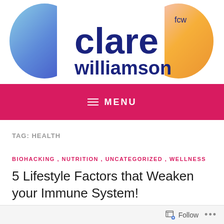[Figure (logo): Clare Williamson (fcw) logo with blue and yellow/pink abstract shapes on either side of the text]
MENU
TAG: HEALTH
BIOHACKING, NUTRITION, UNCATEGORIZED, WELLNESS
5 Lifestyle Factors that Weaken your Immune System!
Follow ...